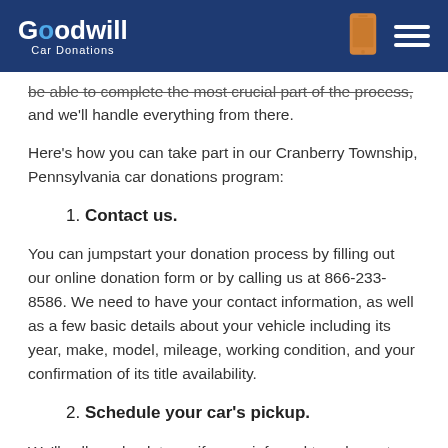Goodwill Car Donations
…be able to complete the most crucial part of the process, and we'll handle everything from there.
Here's how you can take part in our Cranberry Township, Pennsylvania car donations program:
1. Contact us.
You can jumpstart your donation process by filling out our online donation form or by calling us at 866-233-8586. We need to have your contact information, as well as a few basic details about your vehicle including its year, make, model, mileage, working condition, and your confirmation of its title availability.
2. Schedule your car's pickup.
We'll call you back to verify your info and to ask you to give us your preferred schedule for your car's FREE pickup. We'll